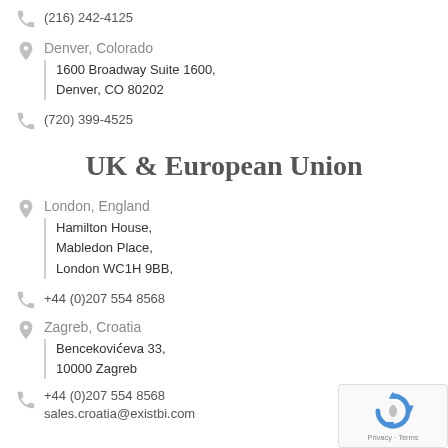(216) 242-4125
Denver, Colorado
1600 Broadway Suite 1600,
Denver, CO 80202
(720) 399-4525
UK & European Union
London, England
Hamilton House,
Mabledon Place,
London WC1H 9BB,
+44 (0)207 554 8568
Zagreb, Croatia
Bencekovićeva 33,
10000 Zagreb
+44 (0)207 554 8568
sales.croatia@existbi.com
[Figure (logo): reCAPTCHA logo with Privacy and Terms text]